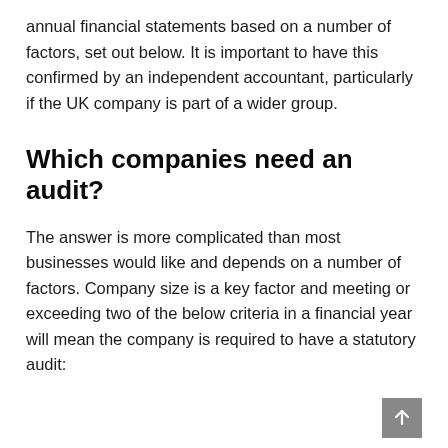annual financial statements based on a number of factors, set out below. It is important to have this confirmed by an independent accountant, particularly if the UK company is part of a wider group.
Which companies need an audit?
The answer is more complicated than most businesses would like and depends on a number of factors. Company size is a key factor and meeting or exceeding two of the below criteria in a financial year will mean the company is required to have a statutory audit: